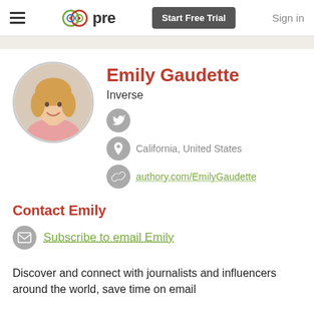pre   Start Free Trial   Sign in
[Figure (photo): Circular profile photo of Emily Gaudette, a young woman with blonde hair wearing a pink top]
Emily Gaudette
Inverse
California, United States
authory.com/EmilyGaudette
Contact Emily
Subscribe to email Emily
Discover and connect with journalists and influencers around the world, save time on email